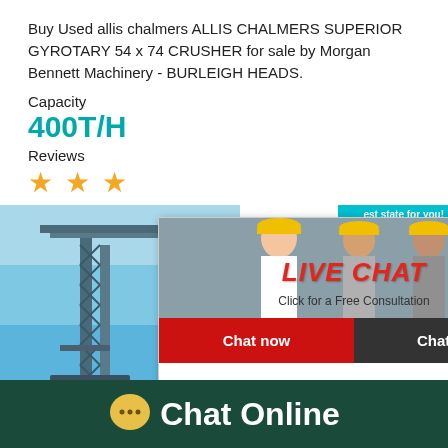Buy Used allis chalmers ALLIS CHALMERS SUPERIOR GYROTARY 54 x 74 CRUSHER for sale by Morgan Bennett Machinery - BURLEIGH HEADS.
Capacity
400T/H
Reviews
[Figure (screenshot): Three stars rating (orange stars)]
[Figure (screenshot): Live Chat popup overlay with workers in hard hats, 'LIVE CHAT' red italic title, 'Click for a Free Consultation' subtitle, 'Chat now' red button and 'Chat later' dark button. Also visible: satisfaction meter widget on right side with emoji faces and gauge, 'Click me to chat >>' button, 'Enquiry' text. Background shows industrial crane image on blue sky.]
Chat Online